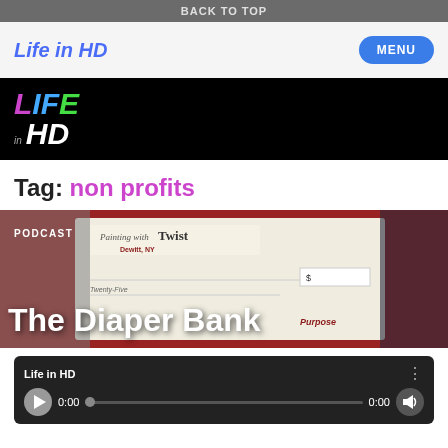BACK TO TOP
Life in HD
[Figure (logo): Life in HD logo on black background with colorful letters - LIFE in purple/blue/green, 'in' in gray, HD in white]
Tag: non profits
[Figure (photo): Photo of two people holding a large ceremonial check from Painting with a Twist, Dewitt NY. Red background. Overlaid text reads PODCAST and The Diaper Bank with purple Purpose text.]
[Figure (screenshot): Audio player widget with dark background showing Life in HD title, play button, 0:00 timestamp, progress bar, and volume icon]